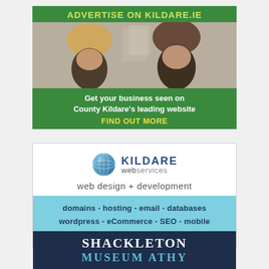[Figure (advertisement): Green banner advertisement for Kildare.ie with header 'ADVERTISE ON KILDARE.IE', photo of two women in hair salon, and footer text 'Get your business seen on County Kildare's leading website' with yellow 'FIND OUT MORE' call to action]
[Figure (advertisement): Advertisement for Kildare Web Services showing globe logo, company name 'KILDARE webservices', tagline 'web design + development', and light blue section listing services: domains, hosting, email, databases, wordpress, eCommerce, SEO, mobile, social media with yellow 'contact us' link]
[Figure (advertisement): Dark navy blue advertisement for Shackleton Museum Athy showing white text 'SHACKLETON' and teal/blue text 'MUSEUM ATHY']